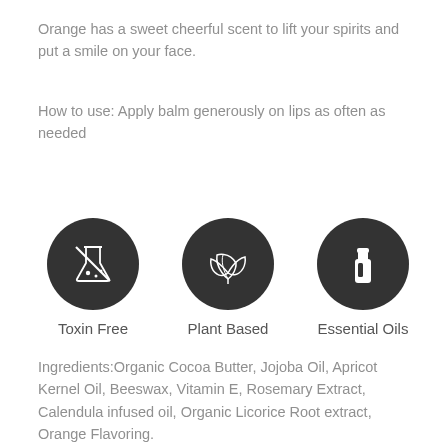Orange has a sweet cheerful scent to lift your spirits and put a smile on your face.
How to use: Apply balm generously on lips as often as needed
[Figure (infographic): Three circular dark icons in a row: (1) Toxin Free - beaker with cross, (2) Plant Based - leaves, (3) Essential Oils - oil bottle. Each icon has a label beneath it.]
Ingredients:Organic Cocoa Butter, Jojoba Oil, Apricot Kernel Oil, Beeswax, Vitamin E, Rosemary Extract, Calendula infused oil, Organic Licorice Root extract, Orange Flavoring.